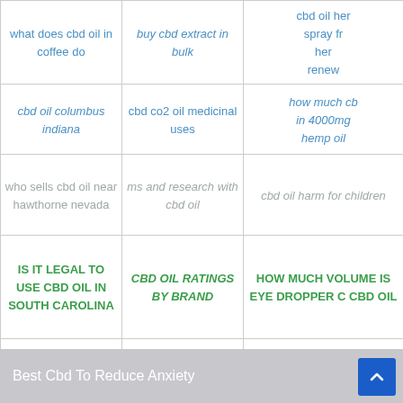| col1 | col2 | col3 |
| --- | --- | --- |
| what does cbd oil in coffee do | buy cbd extract in bulk | cbd oil her spray fr her renew |
| cbd oil columbus indiana | cbd co2 oil medicinal uses | how much cb in 4000mg hemp oil |
| who sells cbd oil near hawthorne nevada | ms and research with cbd oil | cbd oil harm for children |
| IS IT LEGAL TO USE CBD OIL IN SOUTH CAROLINA | CBD OIL RATINGS BY BRAND | HOW MUCH VOLUME IS EYE DROPPER C CBD OIL |
| will taking cbd oil show up on a drug test | cbd vape oil weedmaps | full spectr high grade c |
Best Cbd To Reduce Anxiety